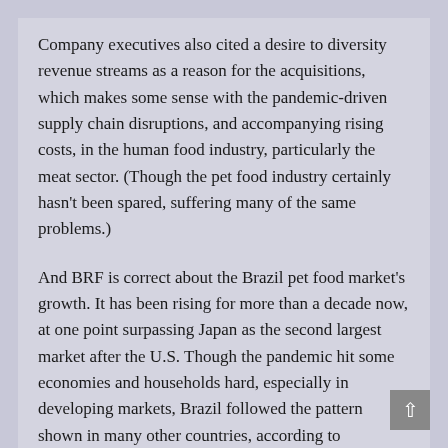Company executives also cited a desire to diversity revenue streams as a reason for the acquisitions, which makes some sense with the pandemic-driven supply chain disruptions, and accompanying rising costs, in the human food industry, particularly the meat sector. (Though the pet food industry certainly hasn't been spared, suffering many of the same problems.)
And BRF is correct about the Brazil pet food market's growth. It has been rising for more than a decade now, at one point surpassing Japan as the second largest market after the U.S. Though the pandemic hit some economies and households hard, especially in developing markets, Brazil followed the pattern shown in many other countries, according to Euromonitor: Pet ownership increased by nearly 20% among more affluent Brazilian households (with income exceeding US$150,000) in 2020. So perhaps BRF will eventually go on another pet food acquisition spree in coming years.